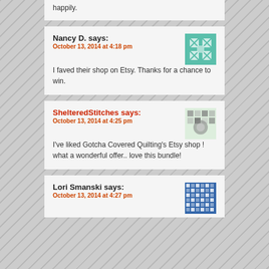happily.
Nancy D. says:
October 13, 2014 at 4:18 pm
I faved their shop on Etsy. Thanks for a chance to win.
ShelteredStitches says:
October 13, 2014 at 4:25 pm
I've liked Gotcha Covered Quilting's Etsy shop ! what a wonderful offer.. love this bundle!
Lori Smanski says:
October 13, 2014 at 4:27 pm
I liked their Etsy shop on FB...